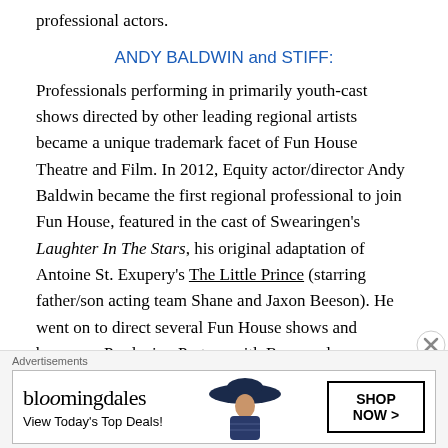professional actors.
ANDY BALDWIN and STIFF:
Professionals performing in primarily youth-cast shows directed by other leading regional artists became a unique trademark facet of Fun House Theatre and Film. In 2012, Equity actor/director Andy Baldwin became the first regional professional to join Fun House, featured in the cast of Swearingen's Laughter In The Stars, his original adaptation of Antoine St. Exupery's The Little Prince (starring father/son acting team Shane and Jaxon Beeson). He went on to direct several Fun House shows and became a Producing Partner with Rapp and
Advertisements
[Figure (other): Bloomingdale's advertisement banner with logo, 'View Today's Top Deals!' tagline, a woman in a wide-brimmed hat, and 'SHOP NOW >' button]